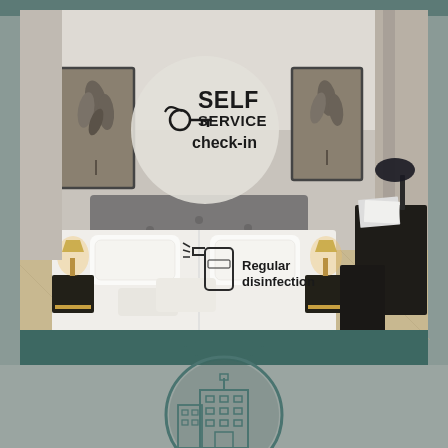[Figure (photo): Hotel room with a large bed with white bedding, two nightstands with lamps, wall art frames, and a desk area. Overlaid graphics include a circular badge reading 'SELF SERVICE check-in' with a key icon, and a spray bottle icon with text 'Regular disinfection'. The lower portion has a teal/dark green background with a downward chevron arrow. Below is a gray section with a circular building/hotel icon.]